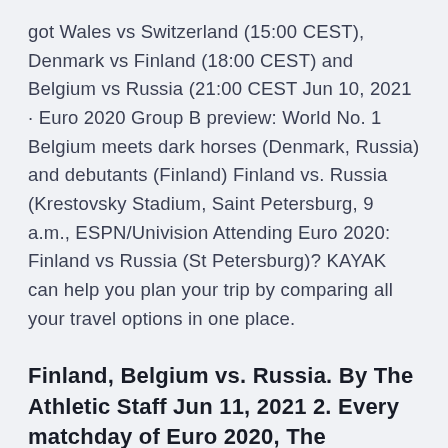got Wales vs Switzerland (15:00 CEST), Denmark vs Finland (18:00 CEST) and Belgium vs Russia (21:00 CEST Jun 10, 2021 · Euro 2020 Group B preview: World No. 1 Belgium meets dark horses (Denmark, Russia) and debutants (Finland) Finland vs. Russia (Krestovsky Stadium, Saint Petersburg, 9 a.m., ESPN/Univision Attending Euro 2020: Finland vs Russia (St Petersburg)? KAYAK can help you plan your trip by comparing all your travel options in one place.
Finland, Belgium vs. Russia. By The Athletic Staff Jun 11, 2021 2. Every matchday of Euro 2020, The Athletic's soccer writers will make their picks straight up. We put our